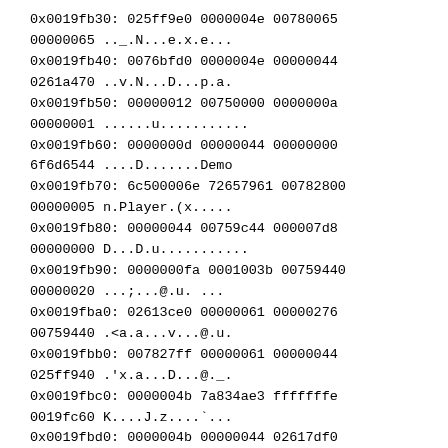0x0019fb30: 025ff9e0 0000004e 00780065
00000065 .._.N...e.x.e...
0x0019fb40: 0076bfd0 0000004e 00000044
0261a470 ..v.N...D...p.a.
0x0019fb50: 00000012 00750000 0000000a
00000001 ......u...........
0x0019fb60: 0000000d 00000044 00000000
6f6d6544 ....D.......Demo
0x0019fb70: 6c500006e 72657961 00782800
00000005 n.Player.(x.....
0x0019fb80: 00000044 00759c44 000007d8
00000000 D...D.u...........
0x0019fb90: 0000000fa 0001003b 00759440
00000020 ...;...@.u. ...
0x0019fba0: 02613ce0 00000061 00000276
00759440 .<a.a...v...@.u.
0x0019fbb0: 007827ff 00000061 00000044
025ff940 .'x.a...D...@._.
0x0019fbc0: 0000004b 7a834ae3 fffffffe
0019fc60 K....J.z....`...
0x0019fbd0: 0000004b 00000044 02617df0
00000052 K...D....}a.R...
0x0019fbe0: 0019fc30 00907027 00750000